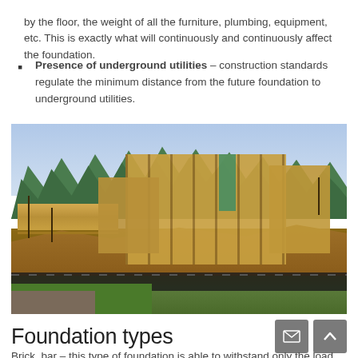by the floor, the weight of all the furniture, plumbing, equipment, etc. This is exactly what will continuously and continuously affect the foundation.
Presence of underground utilities – construction standards regulate the minimum distance from the future foundation to underground utilities.
[Figure (photo): Construction site showing a wood-framed house under construction, with exposed lumber framing, dirt grading, erosion barriers, and forest trees in the background.]
Foundation types
Brick, bar – this type of foundation is able to withstand only the load